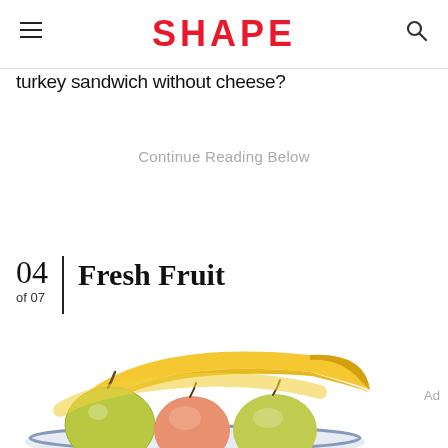SHAPE
turkey sandwich without cheese?
Continue Reading Below
04 of 07 — Fresh Fruit
[Figure (photo): A bowl of fresh fruit including bananas, pears, and apples on a white background]
Ad